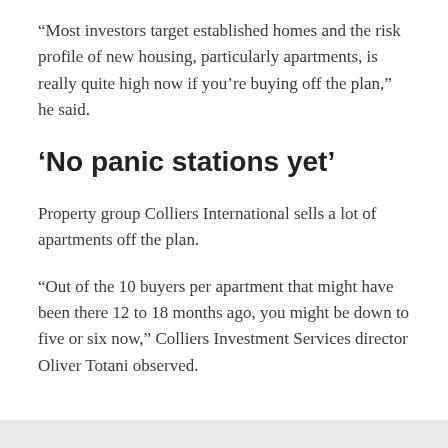“Most investors target established homes and the risk profile of new housing, particularly apartments, is really quite high now if you’re buying off the plan,” he said.
‘No panic stations yet’
Property group Colliers International sells a lot of apartments off the plan.
“Out of the 10 buyers per apartment that might have been there 12 to 18 months ago, you might be down to five or six now,” Colliers Investment Services director Oliver Totani observed.